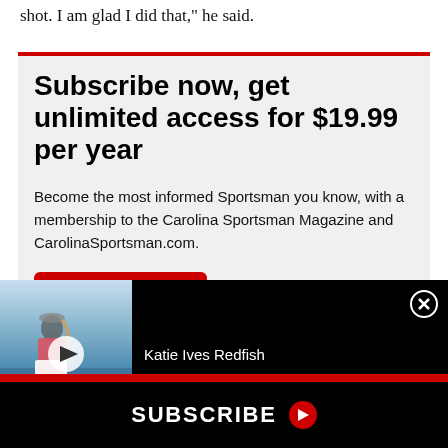shot. I am glad I did that," he said.
Subscribe now, get unlimited access for $19.99 per year
Become the most informed Sportsman you know, with a membership to the Carolina Sportsman Magazine and CarolinaSportsman.com.
SIGN UP NOW
[Figure (screenshot): Video overlay showing Katie Ives Redfish video thumbnail with woman on boat, play button, close button (X), and title 'Katie Ives Redfish']
SUBSCRIBE